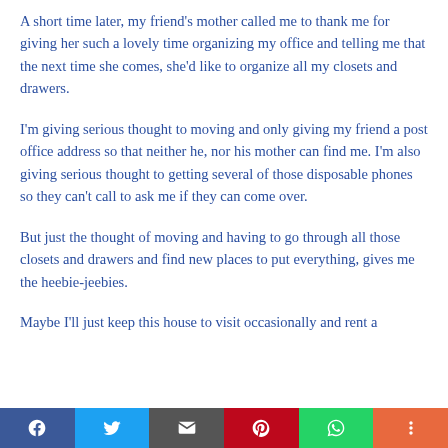A short time later, my friend's mother called me to thank me for giving her such a lovely time organizing my office and telling me that the next time she comes, she'd like to organize all my closets and drawers.
I'm giving serious thought to moving and only giving my friend a post office address so that neither he, nor his mother can find me. I'm also giving serious thought to getting several of those disposable phones so they can't call to ask me if they can come over.
But just the thought of moving and having to go through all those closets and drawers and find new places to put everything, gives me the heebie-jeebies.
Maybe I'll just keep this house to visit occasionally and rent a
Social share bar: Facebook, Twitter, Email, Pinterest, WhatsApp, More